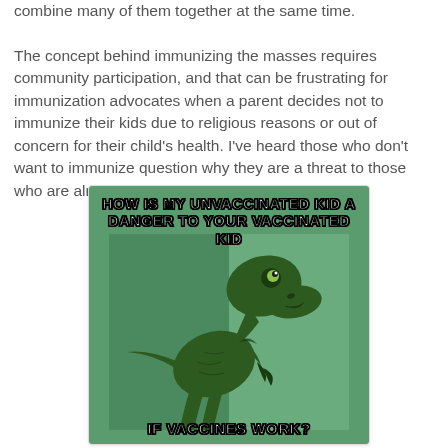combine many of them together at the same time. The concept behind immunizing the masses requires community participation, and that can be frustrating for immunization advocates when a parent decides not to immunize their kids due to religious reasons or out of concern for their child's health. I've heard those who don't want to immunize question why they are a threat to those who are already immunized.
[Figure (illustration): A meme image featuring the 'Philosoraptor' internet meme — a velociraptor dinosaur in a thinking pose against a green background. Top text reads 'HOW IS MY UNVACCINATED KID A DANGER TO YOUR VACCINATED KID' and bottom text reads 'IF VACCINES WORK?']